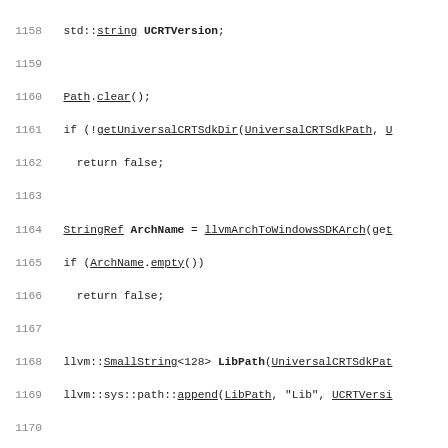Source code listing lines 1158-1187 of a C++ file showing functions getUniversalCRTSdkDir, getMSVCVersionFromTriple, and getMSVCVersionFromExe